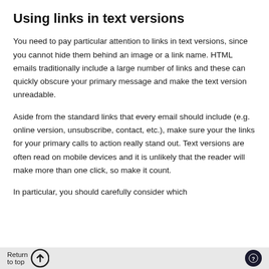Using links in text versions
You need to pay particular attention to links in text versions, since you cannot hide them behind an image or a link name. HTML emails traditionally include a large number of links and these can quickly obscure your primary message and make the text version unreadable.
Aside from the standard links that every email should include (e.g. online version, unsubscribe, contact, etc.), make sure your the links for your primary calls to action really stand out. Text versions are often read on mobile devices and it is unlikely that the reader will make more than one click, so make it count.
In particular, you should carefully consider which
Return to top ↑